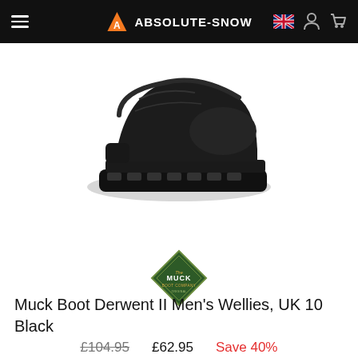ABSOLUTE-SNOW
[Figure (photo): Black Muck Boot Derwent II wellington boot viewed from the side, showing rubber upper and chunky outsole, on white background]
[Figure (logo): Muck Boot Company diamond-shaped green logo with white text reading MUCK BOOT COMPANY]
Muck Boot Derwent II Men's Wellies, UK 10 Black
£104.95   £62.95   Save 40%